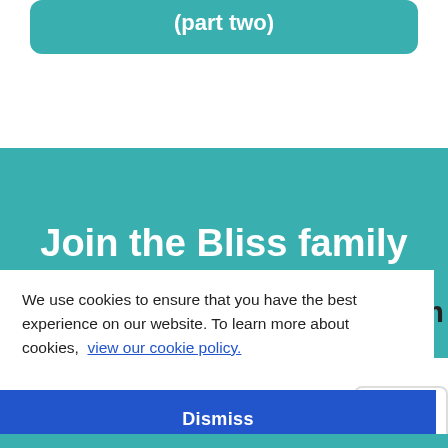(part two)
Join the Bliss family
We use cookies to ensure that you have the best experience on our website. To learn more about cookies, view our cookie policy.
om
Dismiss